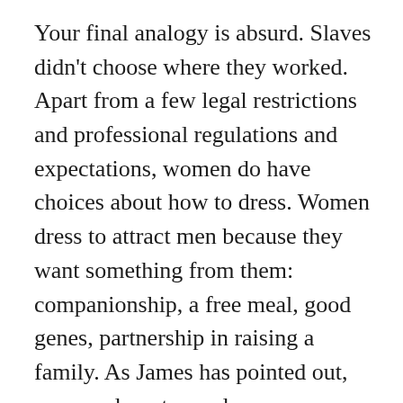Your final analogy is absurd. Slaves didn't choose where they worked. Apart from a few legal restrictions and professional regulations and expectations, women do have choices about how to dress. Women dress to attract men because they want something from them: companionship, a free meal, good genes, partnership in raising a family. As James has pointed out, women do not spend money on appearance because we are foolish. We invest in our looks because such investments reap benefits in giving us